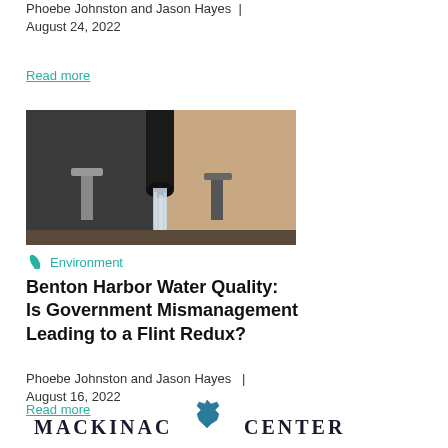Phoebe Johnston and Jason Hayes | August 24, 2022
Read more
[Figure (photo): Close-up photo of a bathroom faucet with running water, shown in dark tones against a warm beige background]
Environment
Benton Harbor Water Quality: Is Government Mismanagement Leading to a Flint Redux?
Phoebe Johnston and Jason Hayes | August 16, 2022
Read more
[Figure (logo): Mackinac Center logo with Michigan state outline icon and text MACKINAC CENTER]